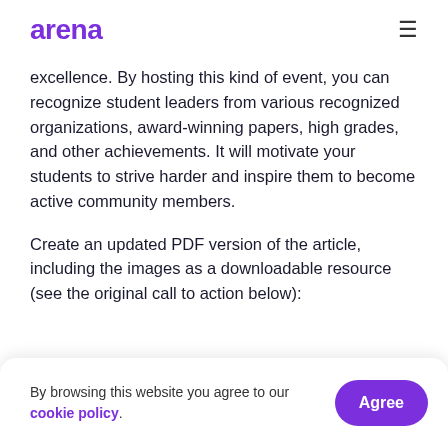arena
excellence. By hosting this kind of event, you can recognize student leaders from various recognized organizations, award-winning papers, high grades, and other achievements. It will motivate your students to strive harder and inspire them to become active community members.
Create an updated PDF version of the article, including the images as a downloadable resource (see the original call to action below):
54. Religious Services Group
By browsing this website you agree to our cookie policy.
way to support students better is by offering them